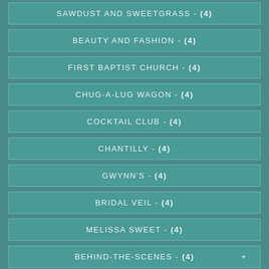SAWDUST AND SWEETGRASS - (4)
BEAUTY AND FASHION - (4)
FIRST BAPTIST CHURCH - (4)
CHUG-A-LUG WAGON - (4)
COCKTAIL CLUB - (4)
CHANTILLY - (4)
GWYNN'S - (4)
BRIDAL VEIL - (4)
MELISSA SWEET - (4)
BEHIND-THE-SCENES - (4)
GAILLARD - (4)